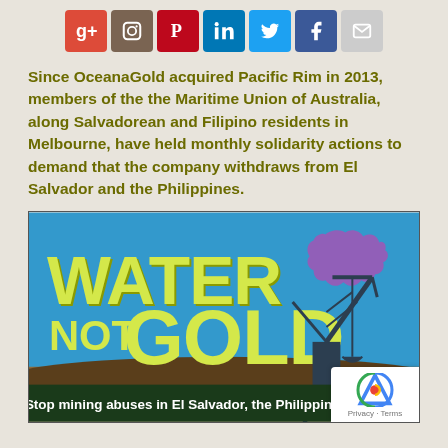[Figure (other): Social media sharing icons: Google+, Instagram, Pinterest, LinkedIn, Twitter, Facebook, Email]
Since OceanaGold acquired Pacific Rim in 2013, members of the the Maritime Union of Australia, along Salvadorean and Filipino residents in Melbourne, have held monthly solidarity actions to demand that the company withdraws from El Salvador and the Philippines.
[Figure (infographic): Anti-mining poster with text 'WATER NOT GOLD' in large yellow distressed letters on a blue background with a mining crane and Australia map silhouette. Bottom text: 'Stop mining abuses in El Salvador, the Philippines and beyond']